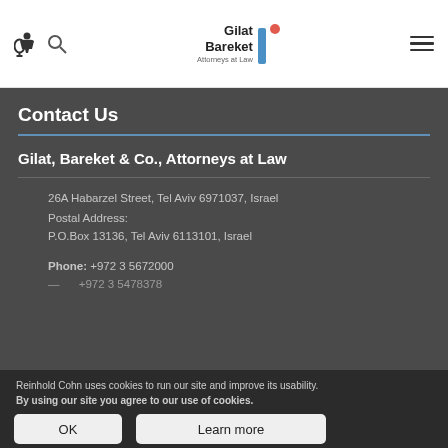Gilat Bareket Attorneys at Law [logo header with accessibility icon, search icon, hamburger menu]
Contact Us
Gilat, Bareket & Co., Attorneys at Law
26A Habarzel Street, Tel Aviv 6971037, Israel
Postal Address:
P.O.Box 13136, Tel Aviv 6113101, Israel
Phone: +972 3 5672000
Reinhold Cohn uses cookies to run our site and improve its usability. By using our site you agree to our use of cookies.
OK
Learn more